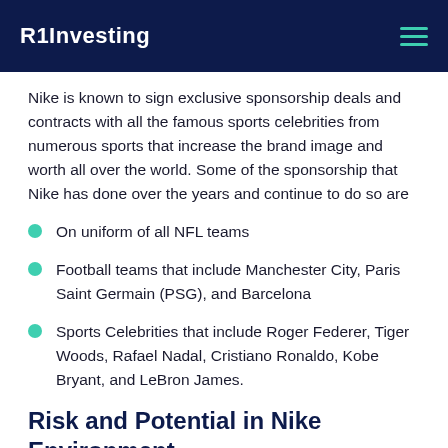R1Investing
Nike is known to sign exclusive sponsorship deals and contracts with all the famous sports celebrities from numerous sports that increase the brand image and worth all over the world. Some of the sponsorship that Nike has done over the years and continue to do so are
On uniform of all NFL teams
Football teams that include Manchester City, Paris Saint Germain (PSG), and Barcelona
Sports Celebrities that include Roger Federer, Tiger Woods, Rafael Nadal, Cristiano Ronaldo, Kobe Bryant, and LeBron James.
Risk and Potential in Nike Environment